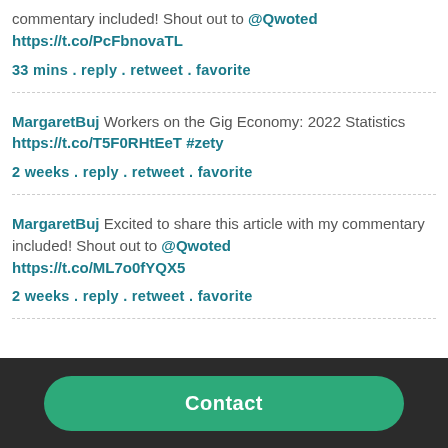commentary included! Shout out to @Qwoted https://t.co/PcFbnovaTL
33 mins . reply . retweet . favorite
MargaretBuj Workers on the Gig Economy: 2022 Statistics https://t.co/T5F0RHtEeT #zety
2 weeks . reply . retweet . favorite
MargaretBuj Excited to share this article with my commentary included! Shout out to @Qwoted https://t.co/ML7o0fYQX5
2 weeks . reply . retweet . favorite
Contact